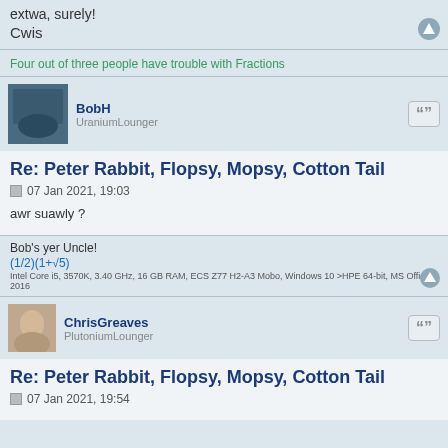extwa, surely!
Cwis
Four out of three people have trouble with Fractions
BobH
UraniumLounger
Re: Peter Rabbit, Flopsy, Mopsy, Cotton Tail
07 Jan 2021, 19:03
awr suawly ?
Bob's yer Uncle!
(1/2)(1+√5)
Intel Core i5, 3570K, 3.40 GHz, 16 GB RAM, ECS Z77 H2-A3 Mobo, Windows 10 >HPE 64-bit, MS Office 2016
ChrisGreaves
PlutoniumLounger
Re: Peter Rabbit, Flopsy, Mopsy, Cotton Tail
07 Jan 2021, 19:54